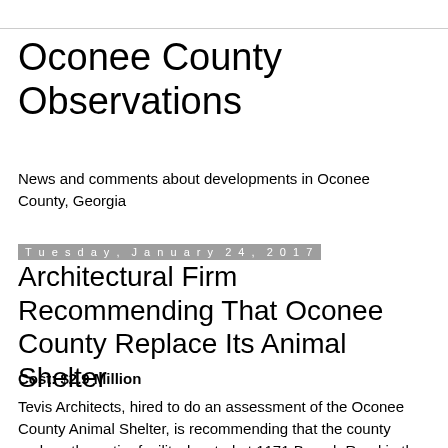Oconee County Observations
News and comments about developments in Oconee County, Georgia
Tuesday, January 24, 2017
Architectural Firm Recommending That Oconee County Replace Its Animal Shelter
Cost: $2.9 Million
Tevis Architects, hired to do an assessment of the Oconee County Animal Shelter, is recommending that the county replace the entire facility, located at 1171 Branch Road in the far south of the county.